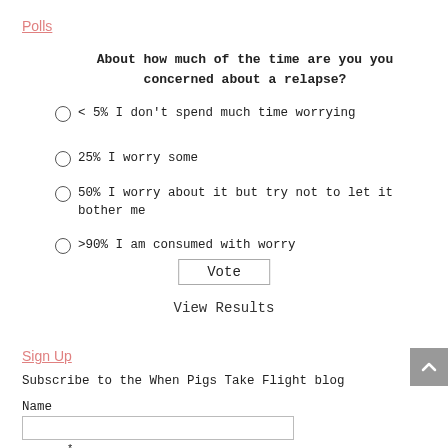Polls
About how much of the time are you concerned about a relapse?
< 5% I don't spend much time worrying
25% I worry some
50% I worry about it but try not to let it bother me
>90% I am consumed with worry
Vote
View Results
Sign Up
Subscribe to the When Pigs Take Flight blog
Name
Email *